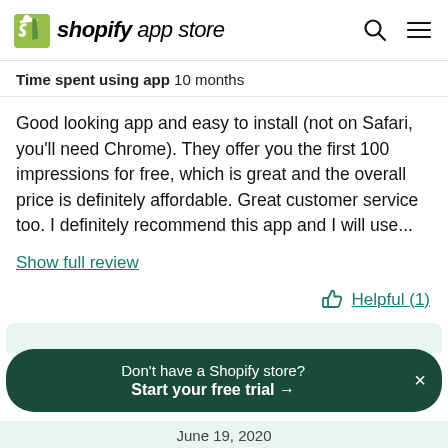shopify app store
Time spent using app  10 months
Good looking app and easy to install (not on Safari, you'll need Chrome). They offer you the first 100 impressions for free, which is great and the overall price is definitely affordable. Great customer service too. I definitely recommend this app and I will use...
Show full review
Helpful (1)
Don't have a Shopify store? Start your free trial →
June 19, 2020